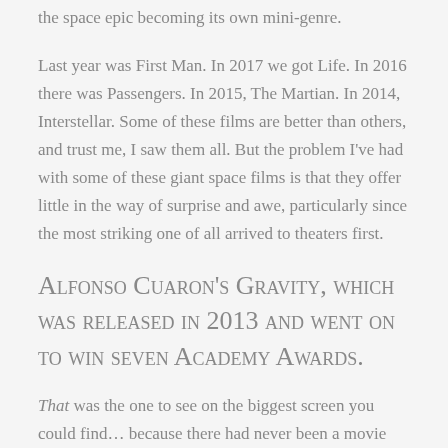the space epic becoming its own mini-genre.
Last year was First Man. In 2017 we got Life. In 2016 there was Passengers. In 2015, The Martian. In 2014, Interstellar. Some of these films are better than others, and trust me, I saw them all. But the problem I've had with some of these giant space films is that they offer little in the way of surprise and awe, particularly since the most striking one of all arrived to theaters first.
Alfonso Cuaron's Gravity, which was released in 2013 and went on to win seven Academy Awards.
That was the one to see on the biggest screen you could find… because there had never been a movie